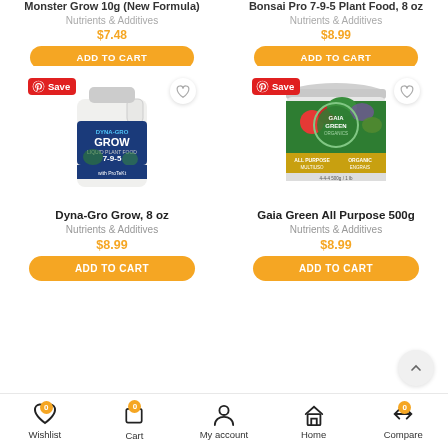Monster Grow 10g (New Formula) — $7.48 | Bonsai Pro 7-9-5 Plant Food, 8 oz — $8.99
[Figure (screenshot): E-commerce product listing page showing plant nutrients. Top row (cropped): Monster Grow 10g $7.48 and Bonsai Pro 7-9-5 Plant Food $8.99 with Add to Cart buttons. Bottom row: Dyna-Gro Grow 8oz $8.99 and Gaia Green All Purpose 500g $8.99 with product images, Save badges, wishlist hearts, and Add to Cart buttons. Bottom navigation bar with Wishlist (0), Cart (0), My account, Home, Compare (0).]
Dyna-Gro Grow, 8 oz
Nutrients & Additives
$8.99
Gaia Green All Purpose 500g
Nutrients & Additives
$8.99
Wishlist  Cart  My account  Home  Compare